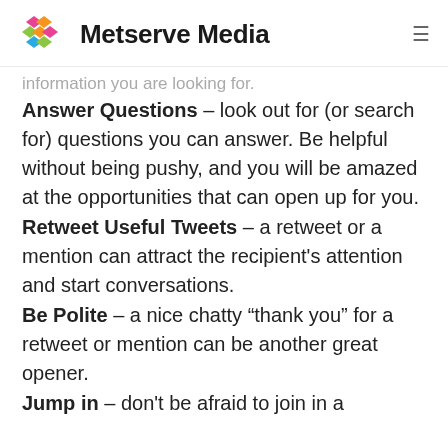Metserve Media
information you are looking for.
Answer Questions – look out for (or search for) questions you can answer. Be helpful without being pushy, and you will be amazed at the opportunities that can open up for you.
Retweet Useful Tweets – a retweet or a mention can attract the recipient's attention and start conversations.
Be Polite – a nice chatty “thank you” for a retweet or mention can be another great opener.
Jump in – don't be afraid to join in a